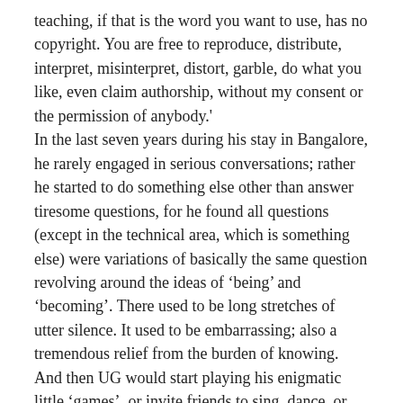teaching, if that is the word you want to use, has no copyright. You are free to reproduce, distribute, interpret, misinterpret, distort, garble, do what you like, even claim authorship, without my consent or the permission of anybody.' In the last seven years during his stay in Bangalore, he rarely engaged in serious conversations; rather he started to do something else other than answer tiresome questions, for he found all questions (except in the technical area, which is something else) were variations of basically the same question revolving around the ideas of ‘being’ and ‘becoming’. There used to be long stretches of utter silence. It used to be embarrassing; also a tremendous relief from the burden of knowing. And then UG would start playing his enigmatic little ‘games’, or invite friends to sing, dance, or share jokes. And the room would explode with laughter: funny, silly, dark, and apocalyptic! At last freed from the tyranny of